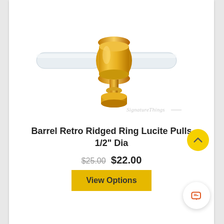[Figure (photo): A barrel retro ridged ring lucite pull hardware piece with a clear cylindrical lucite bar and gold/brass colored ridged ring connector with decorative base finial, shown on white background with SignatureThings watermark]
Barrel Retro Ridged Ring Lucite Pulls 1/2" Dia
$25.00  $22.00
View Options